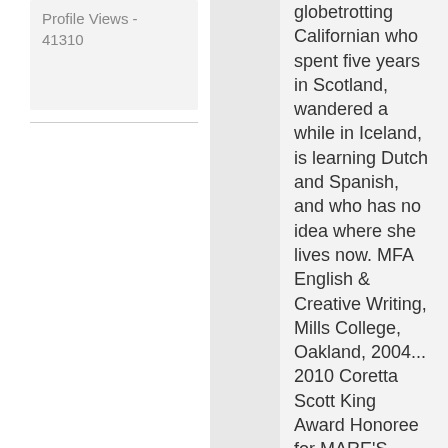Profile Views - 41310
globetrotting Californian who spent five years in Scotland, wandered a while in Iceland, is learning Dutch and Spanish, and who has no idea where she lives now. MFA English & Creative Writing, Mills College, Oakland, 2004... 2010 Coretta Scott King Award Honoree for MARE'S